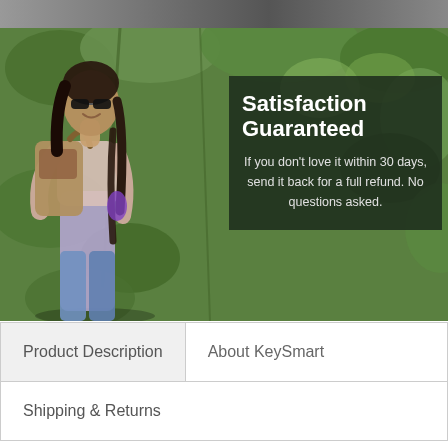[Figure (photo): Woman wearing sunglasses and a backpack standing outdoors among green leafy vines/plants, with a dark semi-transparent overlay box on the right showing satisfaction guarantee text.]
Satisfaction Guaranteed
If you don't love it within 30 days, send it back for a full refund. No questions asked.
Product Description
About KeySmart
Shipping & Returns